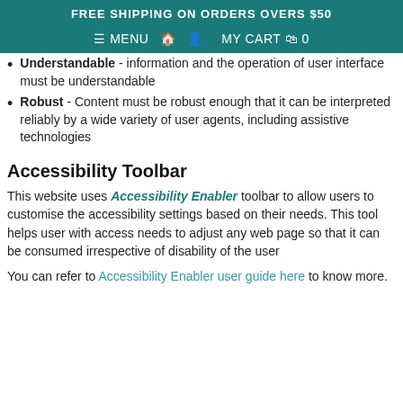FREE SHIPPING ON ORDERS OVERS $50
≡ MENU 🏠 👤 MY CART 🛍 0
Understandable - information and the operation of user interface must be understandable
Robust - Content must be robust enough that it can be interpreted reliably by a wide variety of user agents, including assistive technologies
Accessibility Toolbar
This website uses Accessibility Enabler toolbar to allow users to customise the accessibility settings based on their needs. This tool helps user with access needs to adjust any web page so that it can be consumed irrespective of disability of the user
You can refer to Accessibility Enabler user guide here to know more.